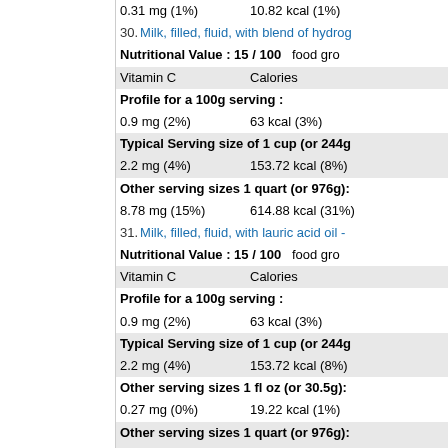0.31 mg (1%)   10.82 kcal (1%)
30. Milk, filled, fluid, with blend of hydrog...
Nutritional Value : 15 / 100   food gro
Vitamin C   Calories
Profile for a 100g serving :
0.9 mg (2%)   63 kcal (3%)
Typical Serving size of 1 cup (or 244g...
2.2 mg (4%)   153.72 kcal (8%)
Other serving sizes 1 quart (or 976g):
8.78 mg (15%)   614.88 kcal (31%)
31. Milk, filled, fluid, with lauric acid oil -...
Nutritional Value : 15 / 100   food gro
Vitamin C   Calories
Profile for a 100g serving :
0.9 mg (2%)   63 kcal (3%)
Typical Serving size of 1 cup (or 244g...
2.2 mg (4%)   153.72 kcal (8%)
Other serving sizes 1 fl oz (or 30.5g):
0.27 mg (0%)   19.22 kcal (1%)
Other serving sizes 1 quart (or 976g):
8.78 mg (15%)   614.88 kcal (31%)
32. Milk, low sodium, fluid - Vitamin C
Nutritional Value : 15 / 100   food gro
Vitamin C   Calories
Profile for a 100g serving :